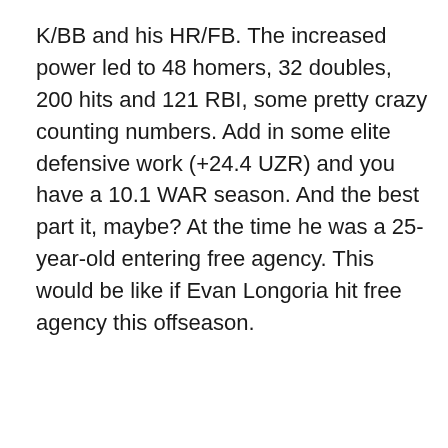K/BB and his HR/FB. The increased power led to 48 homers, 32 doubles, 200 hits and 121 RBI, some pretty crazy counting numbers. Add in some elite defensive work (+24.4 UZR) and you have a 10.1 WAR season. And the best part it, maybe? At the time he was a 25-year-old entering free agency. This would be like if Evan Longoria hit free agency this offseason.